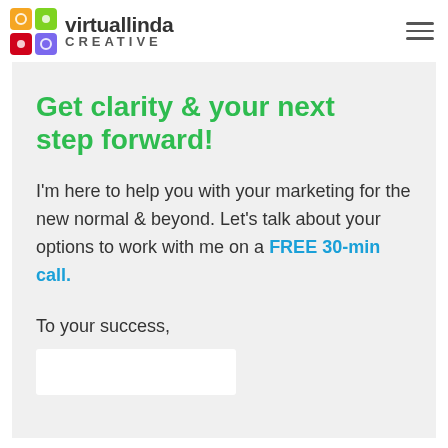virtuallinda CREATIVE
Get clarity & your next step forward!
I'm here to help you with your marketing for the new normal & beyond. Let's talk about your options to work with me on a FREE 30-min call.
To your success,
[Figure (photo): White image placeholder block below the sign-off text]